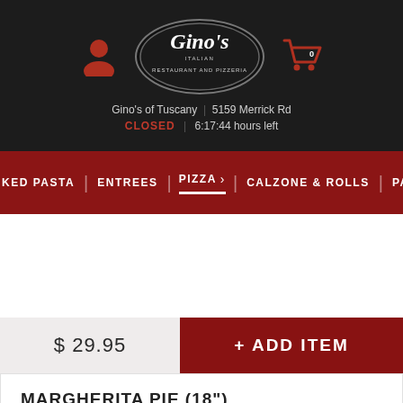Gino's of Tuscany | 5159 Merrick Rd | CLOSED | 6:17:44 hours left
AKED PASTA | ENTREES | PIZZA > | CALZONE & ROLLS | PA
$ 29.95
+ ADD ITEM
MARGHERITA PIE (18")